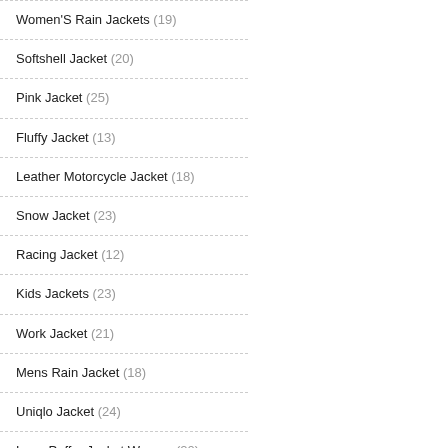Women'S Rain Jackets (19)
Softshell Jacket (20)
Pink Jacket (25)
Fluffy Jacket (13)
Leather Motorcycle Jacket (18)
Snow Jacket (23)
Racing Jacket (12)
Kids Jackets (23)
Work Jacket (21)
Mens Rain Jacket (18)
Uniqlo Jacket (24)
Long Puffer Jacket Women (20)
Black Jacket Women (20)
Mens Sherpa Jacket (22)
Cropped Leather Jacket (22)